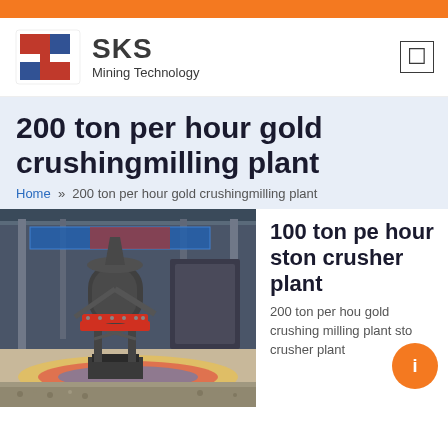[Figure (logo): SKS Mining Technology logo with red and blue angular S icon]
200 ton per hour gold crushingmilling plant
Home » 200 ton per hour gold crushingmilling plant
[Figure (photo): Industrial cone crusher machine on a factory floor with colorful painted ground]
100 ton per hour stone crusher plant
200 ton per hour gold crushing milling plant sto crusher plant